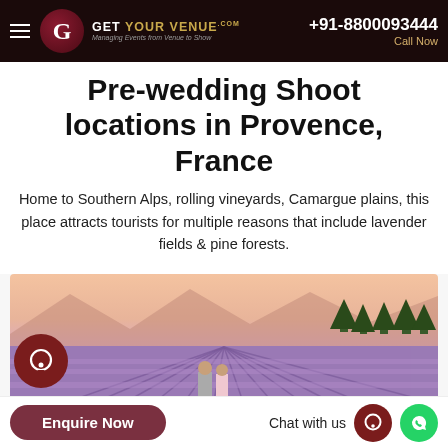+91-8800093444 Call Now | Get Your Venue .com — Managing Events from Venue to Show
Pre-wedding Shoot locations in Provence, France
Home to Southern Alps, rolling vineyards, Camargue plains, this place attracts tourists for multiple reasons that include lavender fields & pine forests.
[Figure (photo): A couple standing in purple lavender fields in Provence, France with mountains and trees in background.]
Enquire Now   Chat with us